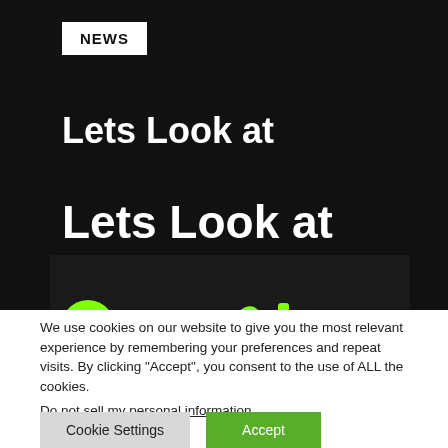NEWS
Lets Look at
Lets Look at
[Figure (logo): Ground Control logo in bright green dripping/graffiti lettering on dark background]
We use cookies on our website to give you the most relevant experience by remembering your preferences and repeat visits. By clicking “Accept”, you consent to the use of ALL the cookies.
Do not sell my personal information.